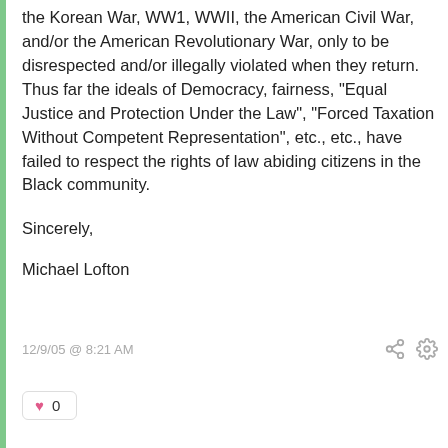the Korean War, WW1, WWII, the American Civil War, and/or the American Revolutionary War, only to be disrespected and/or illegally violated when they return. Thus far the ideals of Democracy, fairness, "Equal Justice and Protection Under the Law", "Forced Taxation Without Competent Representation", etc., etc., have failed to respect the rights of law abiding citizens in the Black community.
Sincerely,
Michael Lofton
12/9/05 @ 8:21 AM